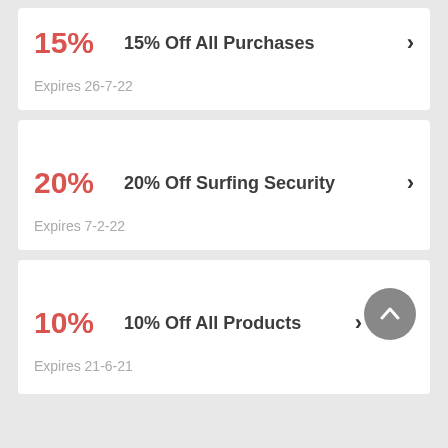15% — 15% Off All Purchases — Expires 26-7-22
20% — 20% Off Surfing Security — Expires 7-2-22
10% — 10% Off All Products — Expires 21-6-21